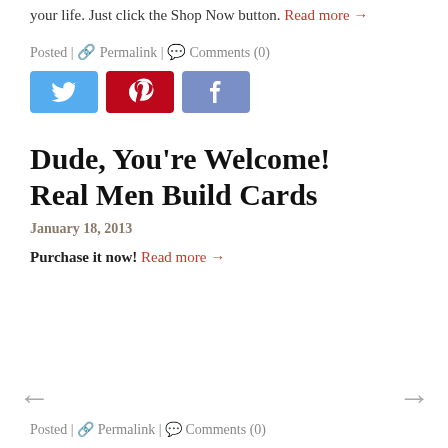your life. Just click the Shop Now button. Read more →
Posted | 🔗 Permalink | 💬 Comments (0)
[Figure (illustration): Three social media share buttons: Twitter (blue bird icon), Pinterest (red P icon), Facebook (blue-grey f icon)]
Dude, You're Welcome! Real Men Build Cards
January 18, 2013
Purchase it now! Read more →
Posted | 🔗 Permalink | 💬 Comments (0)